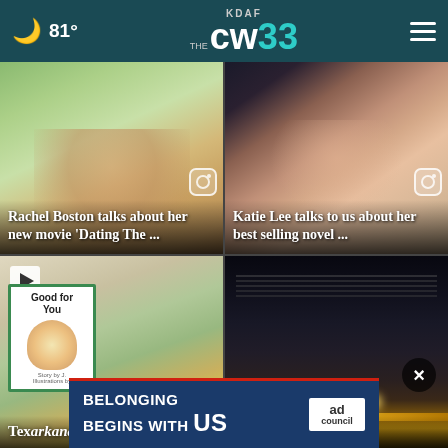81° KDAF THE CW 33
[Figure (screenshot): Rachel Boston video thumbnail — woman smiling outdoors with trees in background]
Rachel Boston talks about her new movie 'Dating The ...
[Figure (screenshot): Katie Lee video thumbnail — woman smiling, close-up portrait]
Katie Lee talks to us about her best selling novel ...
[Figure (screenshot): Books display including 'Good for You' children's book with play button overlay]
Texarkana rec...
[Figure (screenshot): Night exterior of a building with fire/lights at base]
...accused of
[Figure (screenshot): Ad banner: BELONGING BEGINS WITH US — Ad Council]